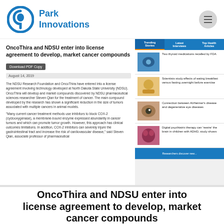Park Innovations
[Figure (screenshot): Screenshot of a website article: OncoThira and NDSU enter into license agreement to develop, market cancer compounds. Shows article title, download PDF button, date August 14, 2019, article body text, and a right sidebar with trending stories including images and headlines about thyroid medications, breakfast vs fasting study, Alzheimer's eye disease, and digital psychiatric therapy for ADHD.]
OncoThira and NDSU enter into license agreement to develop, market cancer compounds
OncoThira and NDSU enter into license agreement to develop, market cancer compounds The NDSU Research...